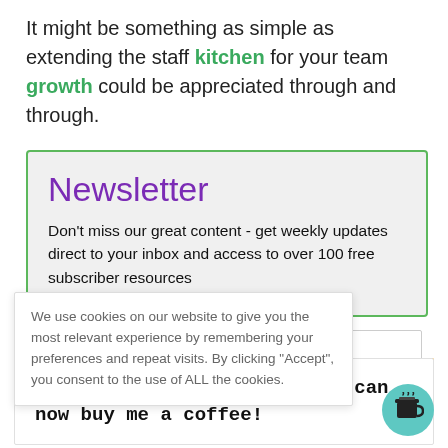It might be something as simple as extending the staff kitchen for your team growth could be appreciated through and through.
Newsletter
Don't miss our great content - get weekly updates direct to your inbox and access to over 100 free subscriber resources
We use cookies on our website to give you the most relevant experience by remembering your preferences and repeat visits. By clicking "Accept", you consent to the use of ALL the cookies.
Thank you for visiting. You can now buy me a coffee!
With this advice, we hope you will finally be rid of